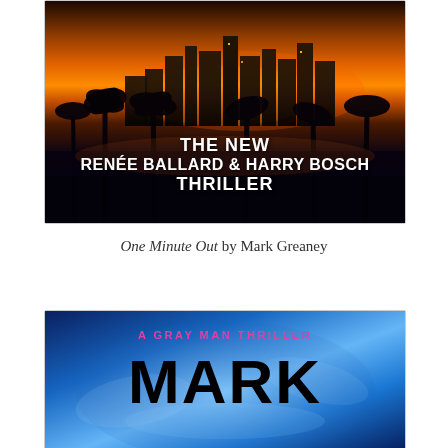[Figure (photo): Book cover showing Los Angeles skyline at night with palm tree silhouettes, orange sunset sky, city lights, with white bold text overlay reading: THE NEW RENÉE BALLARD & HARRY BOSCH THRILLER]
One Minute Out by Mark Greaney
[Figure (photo): Book cover for a Gray Man Thriller by Mark Greaney, showing blue smoky/misty background with large bold black text MARK (partial, cut off at bottom)]